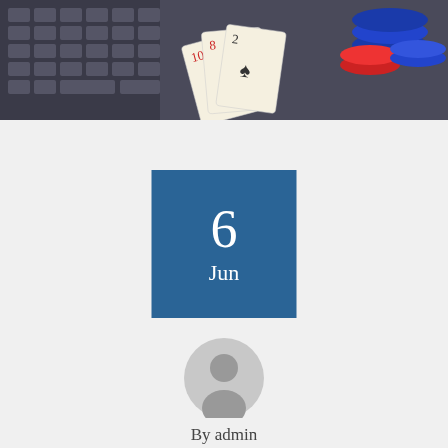[Figure (photo): Top portion of a blog post page header image showing a laptop keyboard on the left, playing cards (10, 8, 2 of hearts/diamonds) fanned in the center, and blue/red casino chips in the upper right, on a dark background.]
6
Jun
[Figure (illustration): Gray circular avatar/user icon showing a silhouette of a person's head and shoulders.]
By admin
No Comments